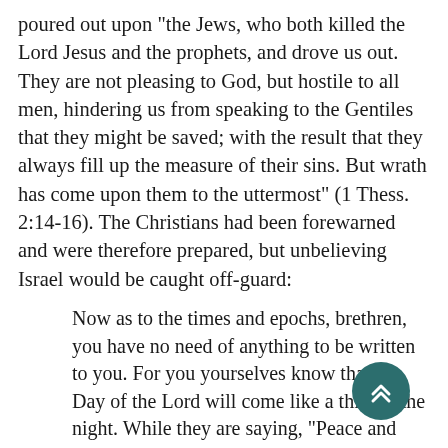poured out upon “the Jews, who both killed the Lord Jesus and the prophets, and drove us out. They are not pleasing to God, but hostile to all men, hindering us from speaking to the Gentiles that they might be saved; with the result that they always fill up the measure of their sins. But wrath has come upon them to the uttermost” (1 Thess. 2:14-16). The Christians had been forewarned and were therefore prepared, but unbelieving Israel would be caught off-guard:
Now as to the times and epochs, brethren, you have no need of anything to be written to you. For you yourselves know that the Day of the Lord will come like a thief in the night. While they are saying, “Peace and safety!” destruction will come upon them suddenly like birth pangs upon a woman with child; and they